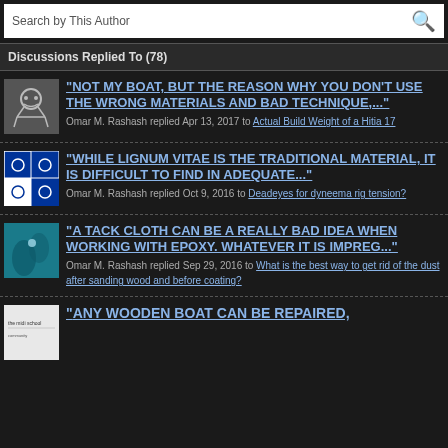Search by This Author
Discussions Replied To (78)
"NOT MY BOAT, BUT THE REASON WHY YOU DON'T USE THE WRONG MATERIALS AND BAD TECHNIQUE,..." Omar M. Rashash replied Apr 13, 2017 to Actual Build Weight of a Hitia 17
"WHILE LIGNUM VITAE IS THE TRADITIONAL MATERIAL, IT IS DIFFICULT TO FIND IN ADEQUATE..." Omar M. Rashash replied Oct 9, 2016 to Deadeyes for dyneema rig tension?
"A TACK CLOTH CAN BE A REALLY BAD IDEA WHEN WORKING WITH EPOXY. WHATEVER IT IS IMPREG..." Omar M. Rashash replied Sep 29, 2016 to What is the best way to get rid of the dust after sanding wood and before coating?
"ANY WOODEN BOAT CAN BE REPAIRED,